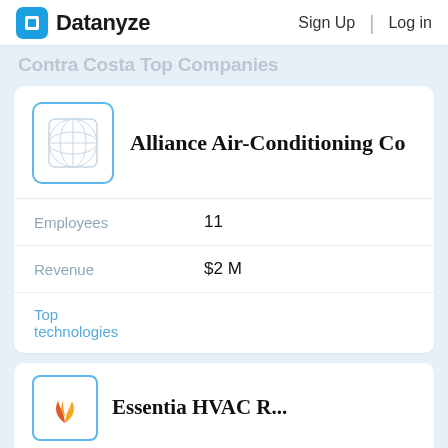Datanyze | Sign Up | Log in
Contra Costa Top Companies
[Figure (logo): Alliance Air-Conditioning Co company logo placeholder — globe/grid icon with blue border]
Alliance Air-Conditioning Co
| Field | Value |
| --- | --- |
| Employees | 11 |
| Revenue | $2 M |
| Top technologies |  |
[Figure (logo): Second company logo placeholder with flame icon and blue border]